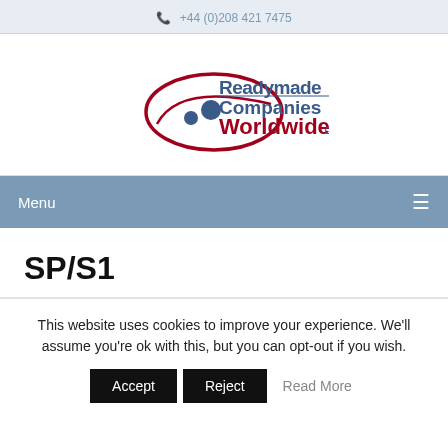+44 (0)208 421 7475
[Figure (logo): Readymade Companies Worldwide.com logo with swoosh and planet graphic]
Menu
SP/S1
This website uses cookies to improve your experience. We'll assume you're ok with this, but you can opt-out if you wish.
Accept   Reject   Read More